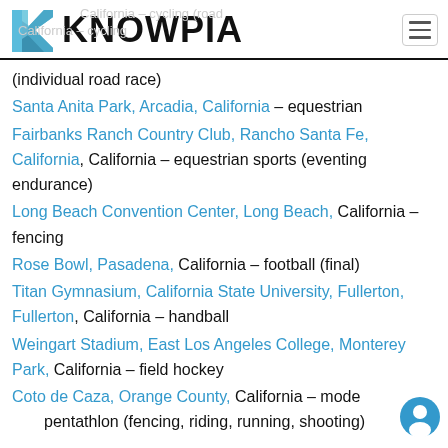KNOWPIA
(individual road race)
Santa Anita Park, Arcadia, California – equestrian
Fairbanks Ranch Country Club, Rancho Santa Fe, California, California – equestrian sports (eventing endurance)
Long Beach Convention Center, Long Beach, California – fencing
Rose Bowl, Pasadena, California – football (final)
Titan Gymnasium, California State University, Fullerton, Fullerton, California – handball
Weingart Stadium, East Los Angeles College, Monterey Park, California – field hockey
Coto de Caza, Orange County, California – modern pentathlon (fencing, riding, running, shooting)